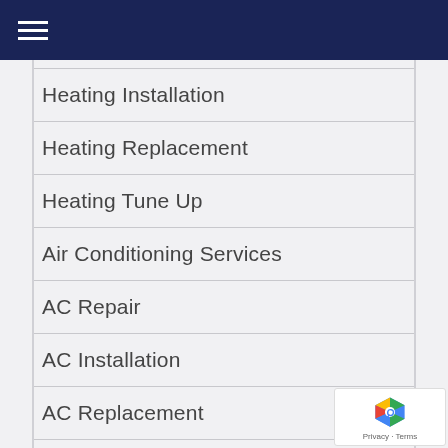Navigation menu header bar
Heating Installation
Heating Replacement
Heating Tune Up
Air Conditioning Services
AC Repair
AC Installation
AC Replacement
Ductless Air Conditioning
AC Tune Up